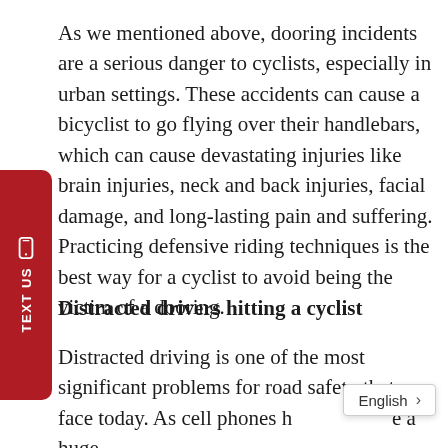As we mentioned above, dooring incidents are a serious danger to cyclists, especially in urban settings. These accidents can cause a bicyclist to go flying over their handlebars, which can cause devastating injuries like brain injuries, neck and back injuries, facial damage, and long-lasting pain and suffering. Practicing defensive riding techniques is the best way for a cyclist to avoid being the victim of a dooring.
Distracted drivers hitting a cyclist
Distracted driving is one of the most significant problems for road safety that we face today. As cell phones h[ave become] a huge